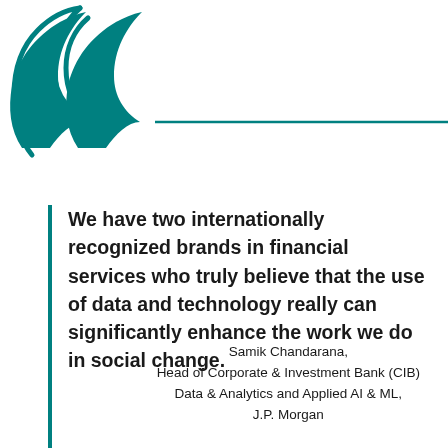[Figure (illustration): Large decorative opening quotation marks in teal color with a horizontal teal line extending to the right]
We have two internationally recognized brands in financial services who truly believe that the use of data and technology really can significantly enhance the work we do in social change.
Samik Chandarana, Head of Corporate & Investment Bank (CIB) Data & Analytics and Applied AI & ML, J.P. Morgan